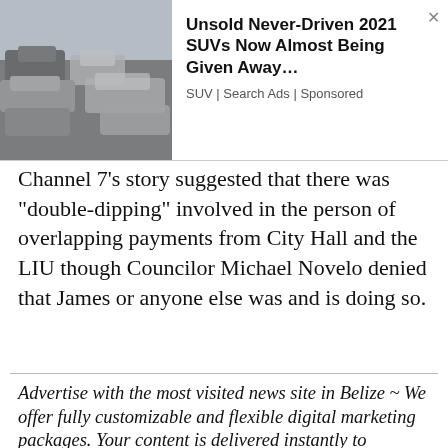[Figure (photo): Ad banner showing parked cars covered in plastic wrap, with text: 'Unsold Never-Driven 2021 SUVs Now Almost Being Given Away...' and subtext 'SUV | Search Ads | Sponsored']
Channel 7’s story suggested that there was “double-dipping” involved in the person of overlapping payments from City Hall and the LIU though Councilor Michael Novelo denied that James or anyone else was and is doing so.
Advertise with the most visited news site in Belize ~ We offer fully customizable and flexible digital marketing packages. Your content is delivered instantly to thousands of users in Belize and abroad! Contact us at marketing@breakingbelizenews.com or call us at 501 601 0315